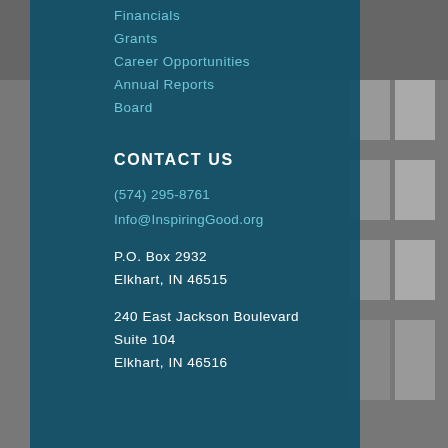Financials
Grants
Career Opportunities
Annual Reports
Board
CONTACT US
(574) 295-8761
Info@InspiringGood.org
P.O. Box 2932
Elkhart, IN 46515
240 East Jackson Boulevard
Suite 104
Elkhart, IN 46516